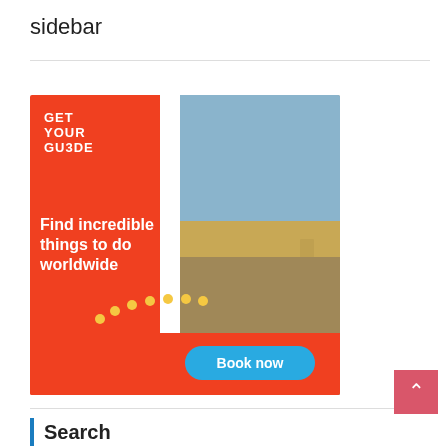sidebar
[Figure (illustration): GetYourGuide advertisement banner showing Brandenburg Gate in Berlin with tourists and a tour guide. Left red/orange panel with 'GET YOUR GUIDE' logo and text 'Find incredible things to do worldwide'. Right side photo of people at a landmark. Blue 'Book now' button at bottom.]
Search